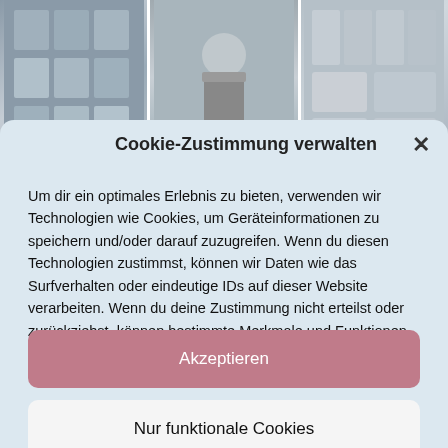[Figure (photo): Three photos of a retail/bicycle shop displayed as background behind cookie modal]
Cookie-Zustimmung verwalten
Um dir ein optimales Erlebnis zu bieten, verwenden wir Technologien wie Cookies, um Geräteinformationen zu speichern und/oder darauf zuzugreifen. Wenn du diesen Technologien zustimmst, können wir Daten wie das Surfverhalten oder eindeutige IDs auf dieser Website verarbeiten. Wenn du deine Zustimmung nicht erteilst oder zurückziehst, können bestimmte Merkmale und Funktionen beeinträchtigt werden.
Akzeptieren
Nur funktionale Cookies
Einstellungen ansehen